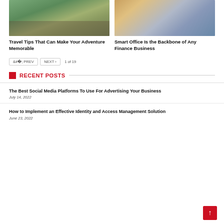[Figure (photo): Group of people in helmets and life vests doing outdoor adventure/rafting activity near water]
Travel Tips That Can Make Your Adventure Memorable
[Figure (photo): Person in blue shirt writing with pen near calculator, laptop, sticky notes — office/finance setting]
Smart Office Is the Backbone of Any Finance Business
< PREV   NEXT >   1 of 19
RECENT POSTS
The Best Social Media Platforms To Use For Advertising Your Business
July 14, 2022
How to Implement an Effective Identity and Access Management Solution
June 23, 2022